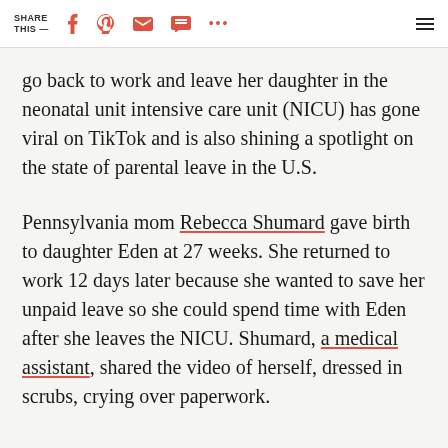SHARE THIS —
go back to work and leave her daughter in the neonatal unit intensive care unit (NICU) has gone viral on TikTok and is also shining a spotlight on the state of parental leave in the U.S.
Pennsylvania mom Rebecca Shumard gave birth to daughter Eden at 27 weeks. She returned to work 12 days later because she wanted to save her unpaid leave so she could spend time with Eden after she leaves the NICU. Shumard, a medical assistant, shared the video of herself, dressed in scrubs, crying over paperwork.